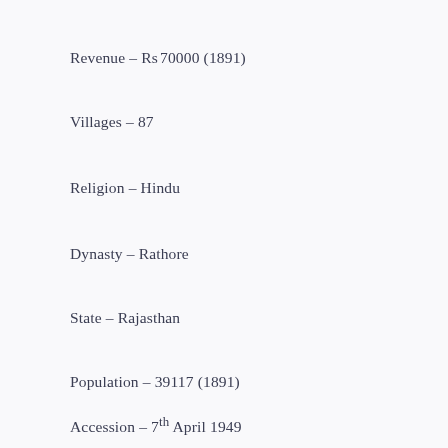Revenue – Rs 70000 (1891)
Villages – 87
Religion – Hindu
Dynasty – Rathore
State – Rajasthan
Population – 39117 (1891)
Accession – 7th April 1949